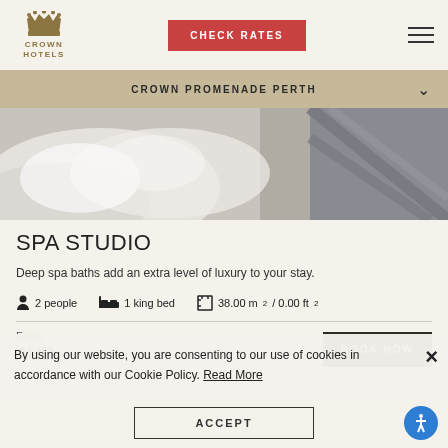Crown Hotels — CHECK RATES
CROWN PROMENADE PERTH
[Figure (photo): Hotel room photo showing white bedding and pillows with grey carpet]
SPA STUDIO
Deep spa baths add an extra level of luxury to your stay.
2 people   1 king bed   38.00 m2 / 0.00 ft2
From
BOOK NOW
By using our website, you are consenting to our use of cookies in accordance with our Cookie Policy. Read More
ACCEPT